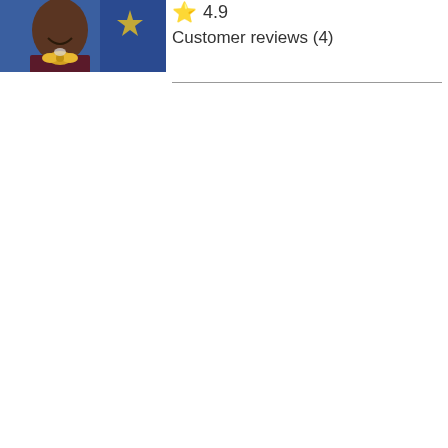[Figure (photo): Close-up photo of a smiling person wearing a dark jacket with a yellow accessory, in front of a blue and white background]
⭐ 4.9
Customer reviews (4)